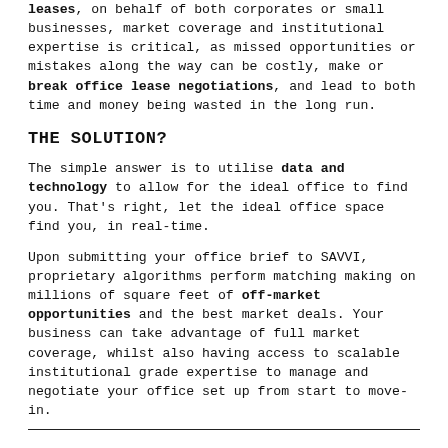leases, on behalf of both corporates or small businesses, market coverage and institutional expertise is critical, as missed opportunities or mistakes along the way can be costly, make or break office lease negotiations, and lead to both time and money being wasted in the long run.
THE SOLUTION?
The simple answer is to utilise data and technology to allow for the ideal office to find you. That's right, let the ideal office space find you, in real-time.
Upon submitting your office brief to SAVVI, proprietary algorithms perform matching making on millions of square feet of off-market opportunities and the best market deals. Your business can take advantage of full market coverage, whilst also having access to scalable institutional grade expertise to manage and negotiate your office set up from start to move-in.